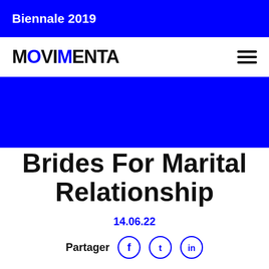Biennale 2019
MOVIMENTA
Ukrainian Wedding Brides For Marital Relationship
14.06.22
Partager